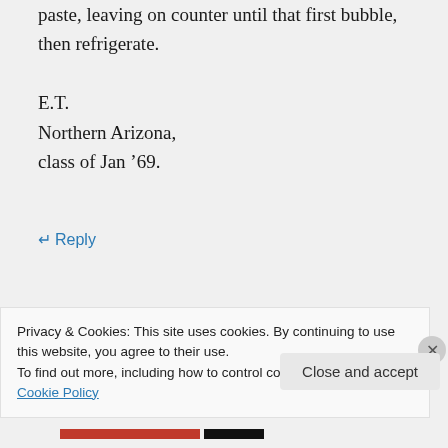paste, leaving on counter until that first bubble, then refrigerate.
E.T.
Northern Arizona,
class of Jan '69.
↵ Reply
Privacy & Cookies: This site uses cookies. By continuing to use this website, you agree to their use.
To find out more, including how to control cookies, see here: Cookie Policy